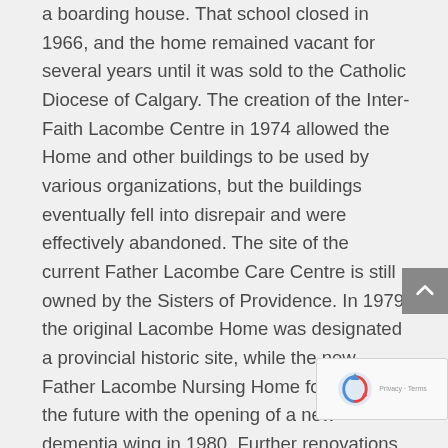a boarding house. That school closed in 1966, and the home remained vacant for several years until it was sold to the Catholic Diocese of Calgary. The creation of the Inter-Faith Lacombe Centre in 1974 allowed the Home and other buildings to be used by various organizations, but the buildings eventually fell into disrepair and were effectively abandoned. The site of the current Father Lacombe Care Centre is still owned by the Sisters of Providence. In 1979 the original Lacombe Home was designated a provincial historic site, while the new Father Lacombe Nursing Home forged into the future with the opening of a new dementia wing in 1980. Further renovations on the Nursing Home were undertaken in 1991. Sadly, on April 1, 1999 Lacombe Home was destroyed in a fire, and a city landmark and important piece of Alberta's heritage